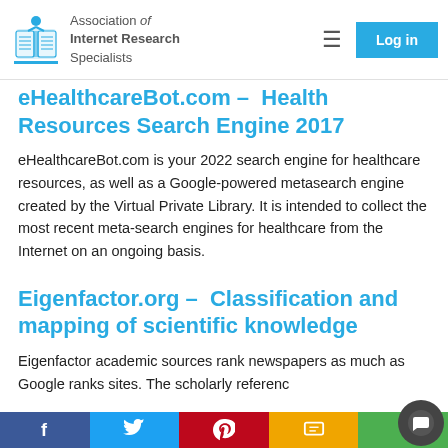Association of Internet Research Specialists
eHealthcareBot.com – Health Resources Search Engine 2017
eHealthcareBot.com is your 2022 search engine for healthcare resources, as well as a Google-powered metasearch engine created by the Virtual Private Library. It is intended to collect the most recent meta-search engines for healthcare from the Internet on an ongoing basis.
Eigenfactor.org – Classification and mapping of scientific knowledge
Eigenfactor academic sources rank newspapers as much as Google ranks sites. The scholarly reference
f  Twitter  Pinterest  SMS